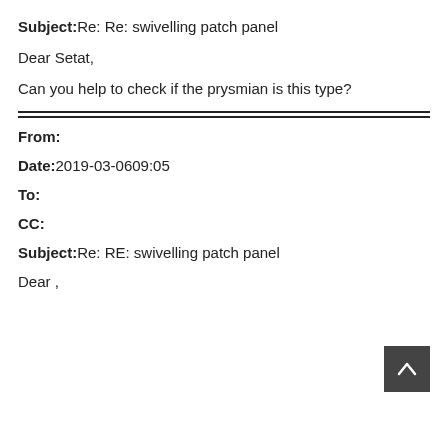Subject:Re: Re: swivelling patch panel
Dear Setat,
Can you help to check if the prysmian is this type?
From:
Date:2019-03-0609:05
To:
CC:
Subject:Re: RE: swivelling patch panel
Dear ,